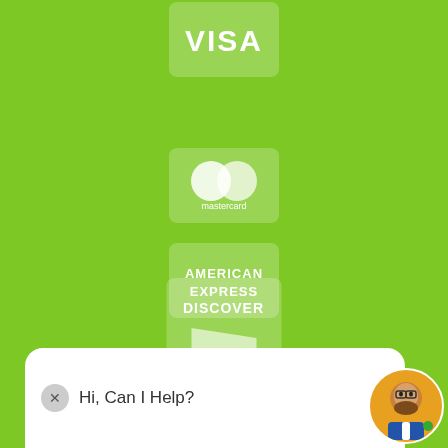[Figure (logo): Visa credit card logo icon, white on green rounded rectangle]
[Figure (logo): Mastercard credit card logo icon, two overlapping circles with 'mastercard' text, white on green rounded rectangle]
[Figure (logo): American Express credit card logo icon, 'AMERICAN EXPRESS' text, white on green rounded rectangle]
[Figure (logo): Discover credit card logo icon, 'DISCOVER' text with orange swoosh, white on green rounded rectangle]
[Figure (logo): Google logo text in multicolor letters]
[Figure (illustration): Chat widget with 'Hi, Can I Help?' message bubble and avatar of bearded man]